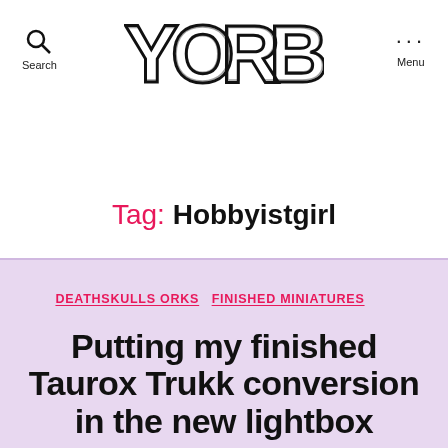YORB — Search | Menu
Tag: Hobbyistgirl
DEATHSKULLS ORKS  FINISHED MINIATURES  LIGHTBOX PHOTOS  MINIATURE PAINTING  MINIATURES  WARHAMMER 40K
Putting my finished Taurox Trukk conversion in the new lightbox